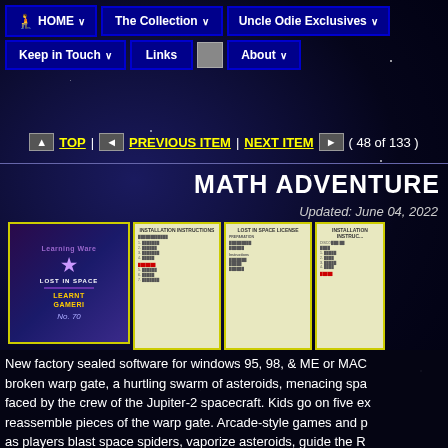HOME | The Collection | Uncle Odie Exclusives | Keep in Touch | Links | About
▲ TOP | ◄ PREVIOUS ITEM | NEXT ITEM ► ( 48 of 133 )
MATH ADVENTURE
Updated: June 04, 2022
[Figure (photo): Four thumbnail images showing Math Adventure Lost in Space software box and installation instruction documents with yellow borders]
New factory sealed software for windows 95, 98, & ME or MAC broken warp gate, a hurtling swarm of asteroids, menacing spa faced by the crew of the Jupiter-2 spacecraft. Kids go on five ex reassemble pieces of the warp gate. Arcade-style games and p as players blast space spiders, vaporize asteroids, guide the R through space in the Jupiter-2.